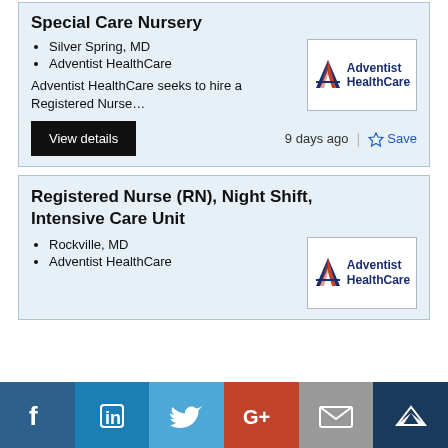Special Care Nursery
Silver Spring, MD
Adventist HealthCare
Adventist HealthCare seeks to hire a Registered Nurse…
[Figure (logo): Adventist HealthCare logo with stylized A]
View details
9 days ago
Save
Registered Nurse (RN), Night Shift, Intensive Care Unit
Rockville, MD
Adventist HealthCare
[Figure (logo): Adventist HealthCare logo with stylized A]